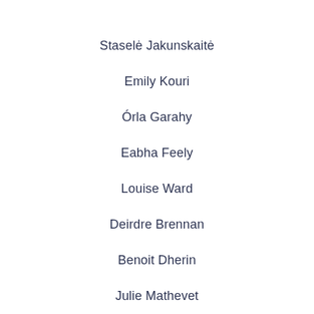Staselė Jakunskaitė
Emily Kouri
Órla Garahy
Eabha Feely
Louise Ward
Deirdre Brennan
Benoit Dherin
Julie Mathevet